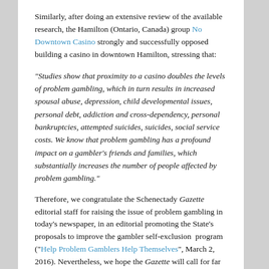Similarly, after doing an extensive review of the available research, the Hamilton (Ontario, Canada) group No Downtown Casino strongly and successfully opposed building a casino in downtown Hamilton, stressing that:
“Studies show that proximity to a casino doubles the levels of problem gambling, which in turn results in increased spousal abuse, depression, child developmental issues, personal debt, addiction and cross-dependency, personal bankruptcies, attempted suicides, suicides, social service costs. We know that problem gambling has a profound impact on a gambler’s friends and families, which substantially increases the number of people affected by problem gambling.”
Therefore, we congratulate the Schenectady Gazette editorial staff for raising the issue of problem gambling in today’s newspaper, in an editorial promoting the State’s proposals to improve the gambler self-exclusion program (“Help Problem Gamblers Help Themselves”, March 2, 2016). Nevertheless, we hope the Gazette will call for far more comprehensive programs locally and statewide